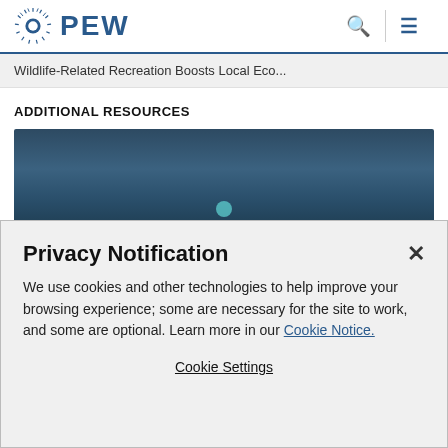PEW
Wildlife-Related Recreation Boosts Local Eco...
ADDITIONAL RESOURCES
[Figure (photo): Dark blue/teal underwater or nature photo background with a small teal circular element visible]
Privacy Notification
We use cookies and other technologies to help improve your browsing experience; some are necessary for the site to work, and some are optional. Learn more in our Cookie Notice.
Cookie Settings